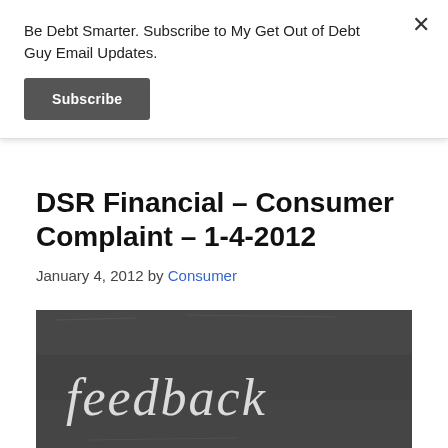Be Debt Smarter. Subscribe to My Get Out of Debt Guy Email Updates.
Subscribe
DSR Financial – Consumer Complaint – 1-4-2012
January 4, 2012 by Consumer
[Figure (photo): Chalkboard with the word 'feedback' written in chalk cursive lettering]